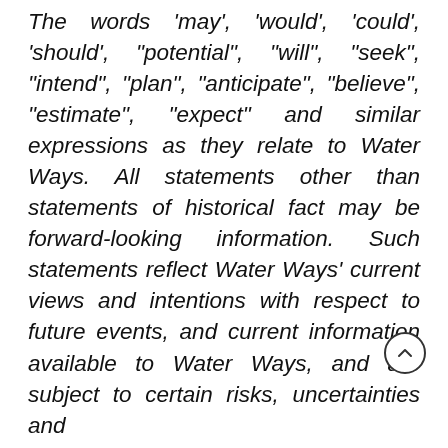The words 'may', 'would', 'could', 'should', 'potential', 'will', 'seek', 'intend', 'plan', 'anticipate', 'believe', 'estimate', 'expect' and similar expressions as they relate to Water Ways. All statements other than statements of historical fact may be forward-looking information. Such statements reflect Water Ways' current views and intentions with respect to future events, and current information available to Water Ways, and are subject to certain risks, uncertainties and assumptions. Material factors or assumptions were applied in providing forward-looking information. Many factors could cause the actual results, performance or achievements that may be expressed or implied by such forward-looking information to vary from those described herein should any of the risks or assumptions materialize.